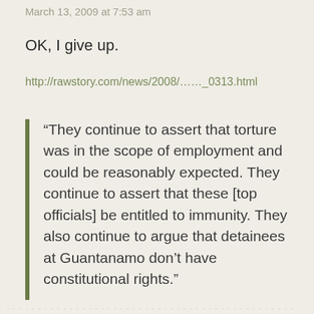March 13, 2009 at 7:53 am
OK, I give up.
http://rawstory.com/news/2008/……_0313.html
“They continue to assert that torture was in the scope of employment and could be reasonably expected. They continue to assert that these [top officials] be entitled to immunity. They also continue to argue that detainees at Guantanamo don’t have constitutional rights.”